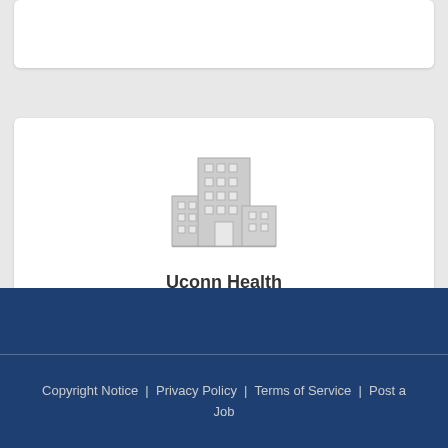[Figure (illustration): Generic building/hospital icon illustration in gray]
Uconn Health
Farmington , CT
https://health.uconn.edu/
Copyright Notice | Privacy Policy | Terms of Service | Post a Job